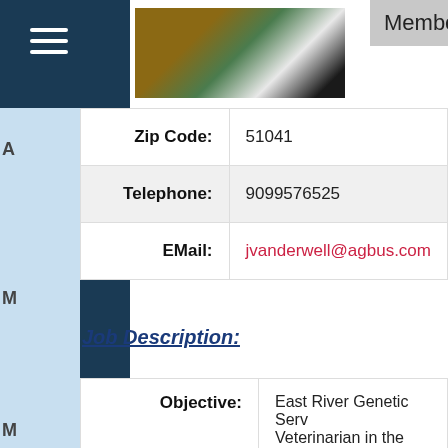Member Log On
| Field | Value |
| --- | --- |
| Zip Code: | 51041 |
| Telephone: | 9099576525 |
| EMail: | jvanderwell@agbus.com |
Job Description:
| Field | Value |
| --- | --- |
| Objective: | East River Genetic Serv... Veterinarian in the Nor... specialized genetic serv... genetics. The primary f... youngstock raising, anc... |